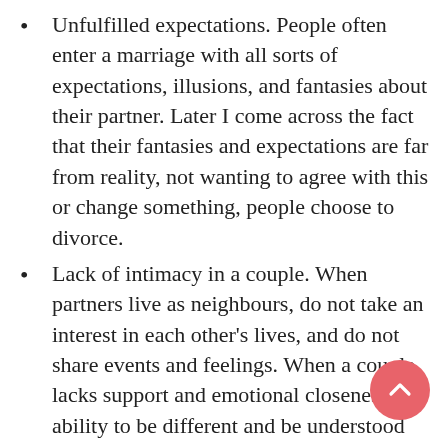Unfulfilled expectations. People often enter a marriage with all sorts of expectations, illusions, and fantasies about their partner. Later I come across the fact that their fantasies and expectations are far from reality, not wanting to agree with this or change something, people choose to divorce.
Lack of intimacy in a couple. When partners live as neighbours, do not take an interest in each other's lives, and do not share events and feelings. When a couple lacks support and emotional closeness, the ability to be different and be understood and heard, all can lead to separation.
Inequality in relationships. This usually results from a lack of agreement on everyone's contribution to a particular area of the couple. When one person seems to be doing more for the relationship than the other, it can cause resentment and anger at the partner.
Lack of preparation for marriage.
Sexual dissatisfaction. A different sexual constitution and unwillingness to seek a solution